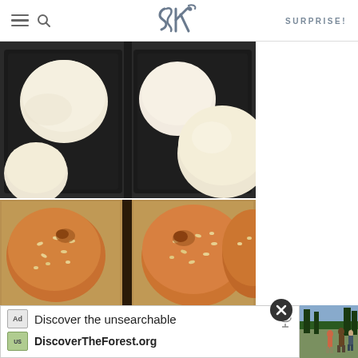SK | SURPRISE!
[Figure (photo): Two baking pans with risen white bread dough rolls, side by side, viewed from above before baking.]
[Figure (photo): Freshly baked golden-brown sesame seed hamburger buns on a baking sheet, viewed from above.]
[Figure (photo): Advertisement image showing people walking in a forest.]
Discover the unsearchable
DiscoverTheForest.org